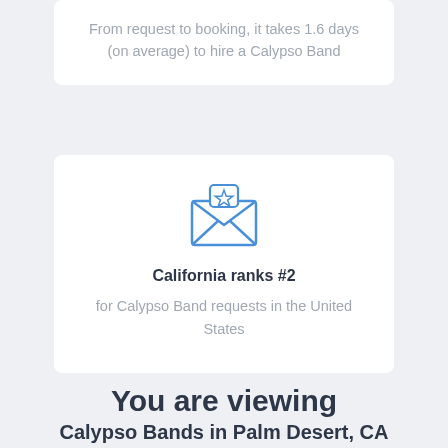From request to booking, it takes 1.6 days (on average) to hire a Calypso Band
[Figure (illustration): Blue line-art icon of an open envelope with a star badge on the flap]
California ranks #2 for Calypso Band requests in the United States
You are viewing
Calypso Bands in Palm Desert, CA